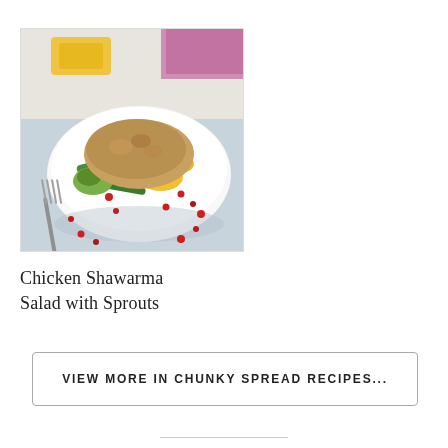[Figure (photo): A bowl of Chicken Shawarma Salad with Sprouts, showing colorful vegetables including mango slices, avocado, green beans, pomegranate seeds, and seasoned chicken on top, with a fork resting beside the white bowl on a light blue/grey surface.]
Chicken Shawarma Salad with Sprouts
VIEW MORE IN CHUNKY SPREAD RECIPES...